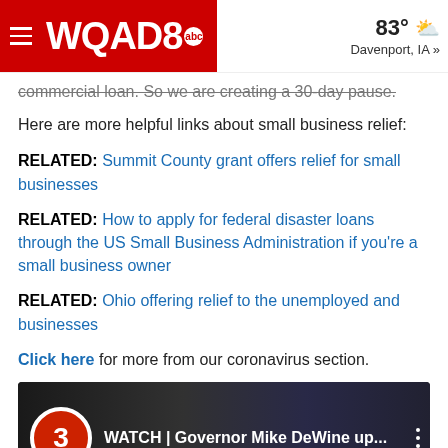WQAD8 abc | 83° Davenport, IA »
commercial loan. So we are creating a 30-day pause.
Here are more helpful links about small business relief:
RELATED: Summit County grant offers relief for small businesses
RELATED: How to apply for federal disaster loans through the US Small Business Administration if you're a small business owner
RELATED: Ohio offering relief to the unemployed and businesses
Click here for more from our coronavirus section.
[Figure (screenshot): Video thumbnail: WATCH | Governor Mike DeWine up... with a red circle number 3 badge, showing flags and a person in the background, with VID19 CALL CENTER label overlay]